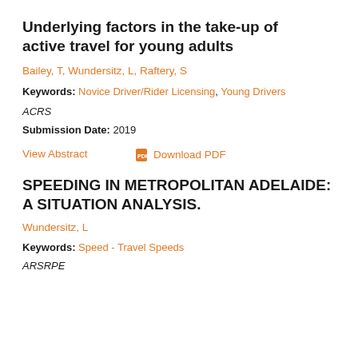Underlying factors in the take-up of active travel for young adults
Bailey, T, Wundersitz, L, Raftery, S
Keywords: Novice Driver/Rider Licensing, Young Drivers
ACRS
Submission Date: 2019
View Abstract    Download PDF
SPEEDING IN METROPOLITAN ADELAIDE: A SITUATION ANALYSIS.
Wundersitz, L
Keywords: Speed - Travel Speeds
ARSRPE